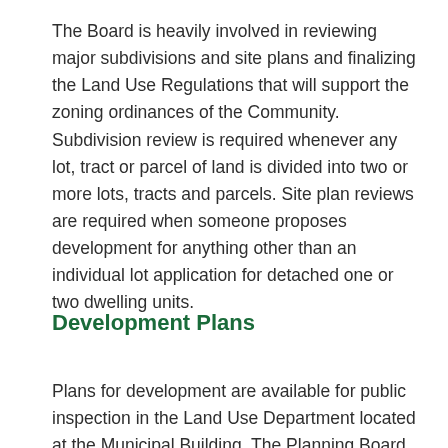The Board is heavily involved in reviewing major subdivisions and site plans and finalizing the Land Use Regulations that will support the zoning ordinances of the Community. Subdivision review is required whenever any lot, tract or parcel of land is divided into two or more lots, tracts and parcels. Site plan reviews are required when someone proposes development for anything other than an individual lot application for detached one or two dwelling units.
Development Plans
Plans for development are available for public inspection in the Land Use Department located at the Municipal Building. The Planning Board meets regularly. Public participation is always